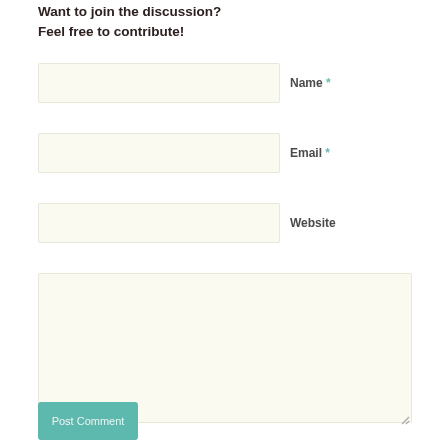Want to join the discussion?
Feel free to contribute!
Name *
Email *
Website
Post Comment